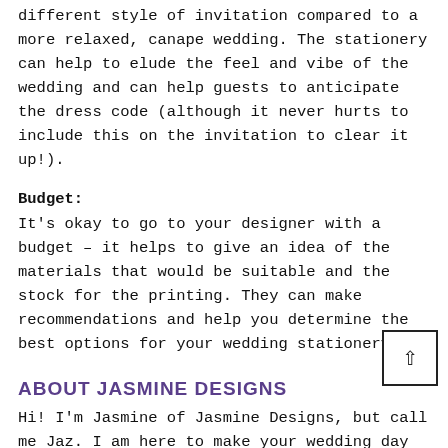different style of invitation compared to a more relaxed, canape wedding. The stationery can help to elude the feel and vibe of the wedding and can help guests to anticipate the dress code (although it never hurts to include this on the invitation to clear it up!).
Budget:
It's okay to go to your designer with a budget – it helps to give an idea of the materials that would be suitable and the stock for the printing. They can make recommendations and help you determine the best options for your wedding stationery.
ABOUT JASMINE DESIGNS
Hi! I'm Jasmine of Jasmine Designs, but call me Jaz. I am here to make your wedding day easier by taking your ideas and magically bringing them to life, without costing the